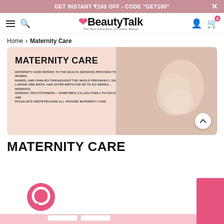GET INSTANT ₹100 OFF - CODE "GET100"
[Figure (screenshot): BeautyTalk website navigation bar with hamburger menu, search icon, BeautyTalk logo with heart icon and tagline 'The Next Generation of Korean Beauty', user account icon, and shopping cart with badge showing 0]
Home > Maternity Care
[Figure (illustration): Maternity Care hero banner with peach/pink gradient background showing text 'MATERNITY CARE' and description about maternity care health services, with a photo of a pregnant woman on the right side]
MATERNITY CARE